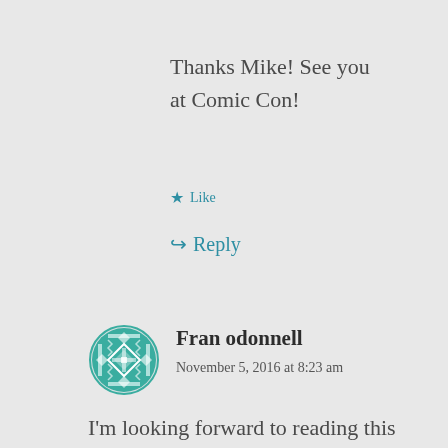Thanks Mike! See you at Comic Con!
★ Like
↪ Reply
[Figure (illustration): Circular avatar with teal geometric/aztec pattern design for user Fran odonnell]
Fran odonnell
November 5, 2016 at 8:23 am
I'm looking forward to reading this